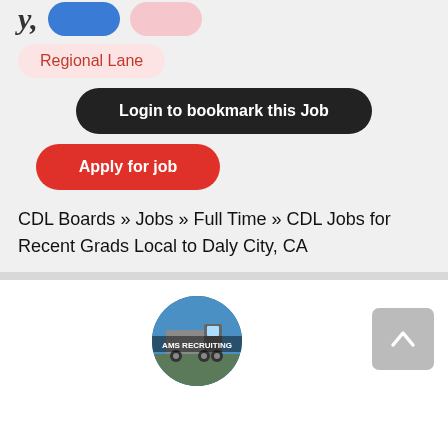[Figure (other): Partial tag/badge row showing italic bold text 'y,' followed by a blue pill badge and a light pink pill badge]
Regional Lane
Login to bookmark this Job
Apply for job
CDL Boards » Jobs » Full Time » CDL Jobs for Recent Grads Local to Daly City, CA
[Figure (logo): Circular logo showing a truck with text 'AMS RECRUITING' overlay, on a blue/sky background]
[Figure (other): Scroll-to-top button with upward chevron arrow on gray background]